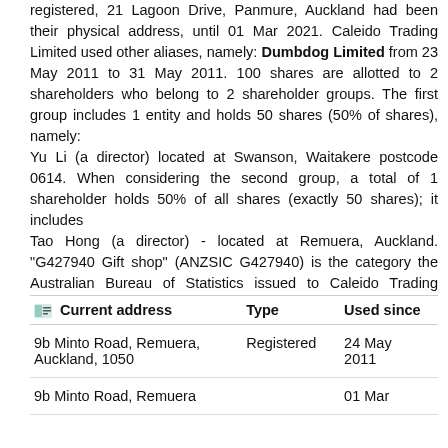registered, 21 Lagoon Drive, Panmure, Auckland had been their physical address, until 01 Mar 2021. Caleido Trading Limited used other aliases, namely: Dumbdog Limited from 23 May 2011 to 31 May 2011. 100 shares are allotted to 2 shareholders who belong to 2 shareholder groups. The first group includes 1 entity and holds 50 shares (50% of shares), namely:
Yu Li (a director) located at Swanson, Waitakere postcode 0614. When considering the second group, a total of 1 shareholder holds 50% of all shares (exactly 50 shares); it includes
Tao Hong (a director) - located at Remuera, Auckland. "G427940 Gift shop" (ANZSIC G427940) is the category the Australian Bureau of Statistics issued to Caleido Trading Limited. Our database was updated on 01 Aug 2022.
| Current address | Type | Used since |
| --- | --- | --- |
| 9b Minto Road, Remuera, Auckland, 1050 | Registered | 24 May 2011 |
| 9b Minto Road, Remuera |  | 01 Mar |